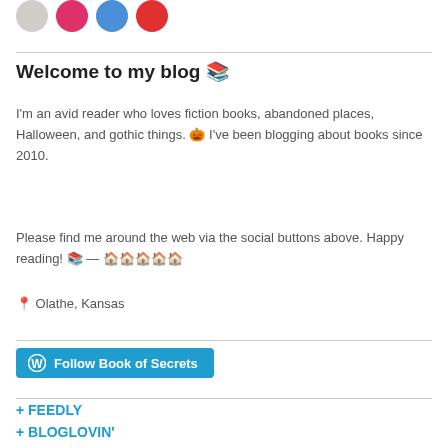[Figure (illustration): Four colored circles (social media icons): gray, pink/red, blue, red]
Welcome to my blog 📚
I'm an avid reader who loves fiction books, abandoned places, Halloween, and gothic things. 🎃 I've been blogging about books since 2010.
Please find me around the web via the social buttons above. Happy reading! 📚 — 🏠🏠🏠🏠🏠
📍 Olathe, Kansas
[Figure (other): Follow Book of Secrets button with WordPress icon]
+ FEEDLY
+ BLOGLOVIN'